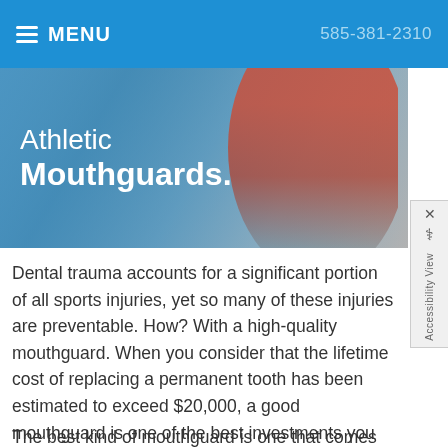MENU   585-381-2310
[Figure (photo): Banner image showing a basketball player in a red jersey dribbling a ball, with text overlay reading 'Athletic Mouthguards' on a blue background]
Dental trauma accounts for a significant portion of all sports injuries, yet so many of these injuries are preventable. How? With a high-quality mouthguard. When you consider that the lifetime cost of replacing a permanent tooth has been estimated to exceed $20,000, a good mouthguard is one of the best investments you can make in sports equipment: It has been shown to reduce the risk of sports-related dental injury by 60 times.
The best kind of mouthguard is one that comes from your dentist's office. It's custom-made from a model